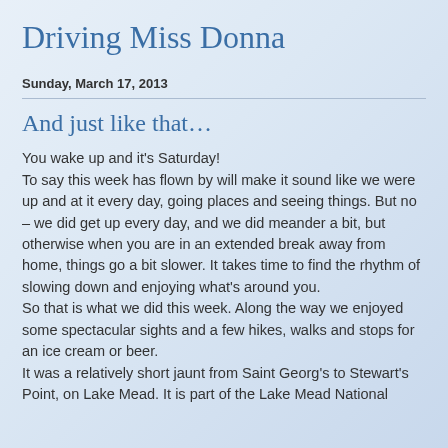Driving Miss Donna
Sunday, March 17, 2013
And just like that…
You wake up and it's Saturday!
To say this week has flown by will make it sound like we were up and at it every day, going places and seeing things. But no – we did get up every day, and we did meander a bit, but otherwise when you are in an extended break away from home, things go a bit slower.  It takes time to find the rhythm of slowing down and enjoying what's around you.
So that is what we did this week.  Along the way we enjoyed some spectacular sights and a few hikes, walks and stops for an ice cream or beer.
It was a relatively short jaunt from Saint Georg's to Stewart's Point, on Lake Mead.  It is part of the Lake Mead National